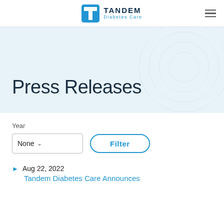[Figure (logo): Tandem Diabetes Care logo with blue T square icon and company name]
Press Releases
Year
None  Filter
Aug 22, 2022
Tandem Diabetes Care Announces